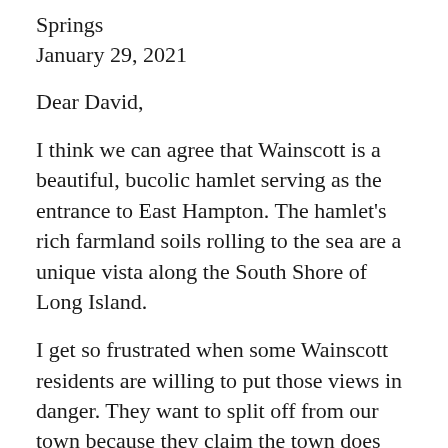Springs
January 29, 2021
Dear David,
I think we can agree that Wainscott is a beautiful, bucolic hamlet serving as the entrance to East Hampton. The hamlet's rich farmland soils rolling to the sea are a unique vista along the South Shore of Long Island.
I get so frustrated when some Wainscott residents are willing to put those views in danger. They want to split off from our town because they claim the town does not do anything for them. In the 1980s, big development applications slammed down like a tsunami before the planning board. The coastal